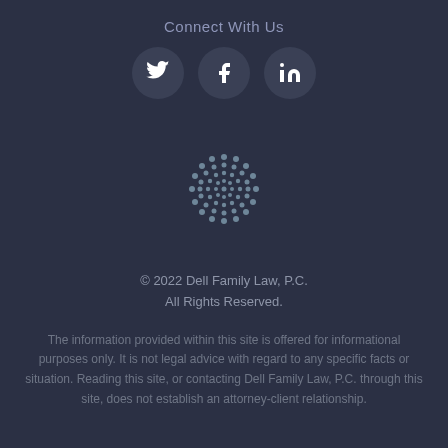Connect With Us
[Figure (illustration): Three social media icon buttons (Twitter, Facebook, LinkedIn) as dark circular buttons with white icons]
[Figure (logo): Circular dot-pattern logo for Dell Family Law, P.C.]
© 2022 Dell Family Law, P.C.
All Rights Reserved.
The information provided within this site is offered for informational purposes only. It is not legal advice with regard to any specific facts or situation. Reading this site, or contacting Dell Family Law, P.C. through this site, does not establish an attorney-client relationship.